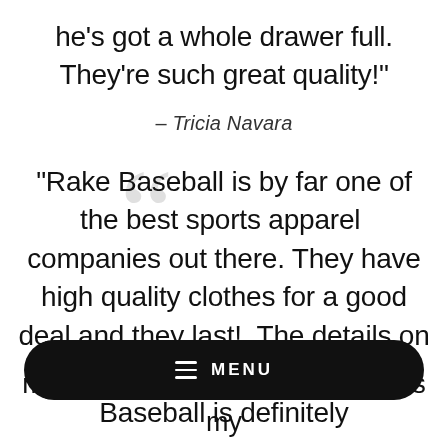he's got a whole drawer full. They're such great quality!"
– Tricia Navara
"Rake Baseball is by far one of the best sports apparel  companies out there. They have high quality clothes for a good deal and they last!  The details on each item are the best. Rake Baseball is definitely
my boys love their clothes but it is my